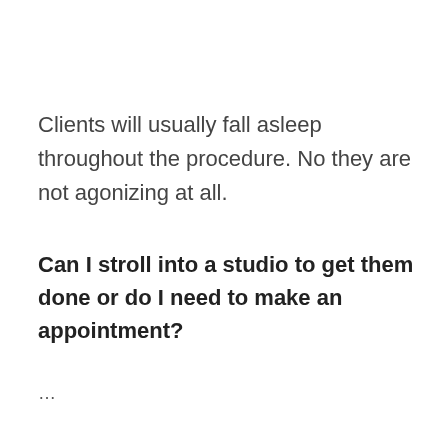Clients will usually fall asleep throughout the procedure. No they are not agonizing at all.
Can I stroll into a studio to get them done or do I need to make an appointment?
...
[Figure (screenshot): Advertisement widget showing 'Search for' label with eye icon, two items: 1. NATURAL-LOOKING FALSE LASHES, 2. EYELASH GROWTH TREATMENT, each with red arrow buttons.]